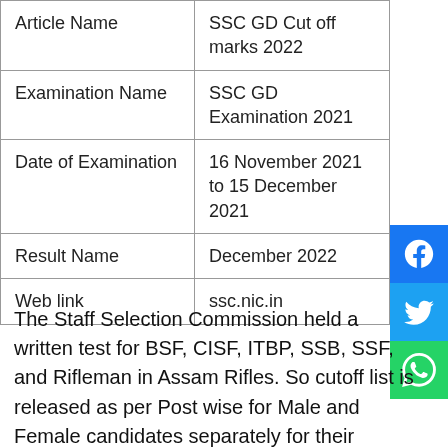|  |  |
| --- | --- |
| Article Name | SSC GD Cut off marks 2022 |
| Examination Name | SSC GD Examination 2021 |
| Date of Examination | 16 November 2021 to 15 December 2021 |
| Result Name | December 2022 |
| Web link | ssc.nic.in |
The Staff Selection Commission held a written test for BSF, CISF, ITBP, SSB, SSF, and Rifleman in Assam Rifles. So cutoff list is released as per Post wise for Male and Female candidates separately for their